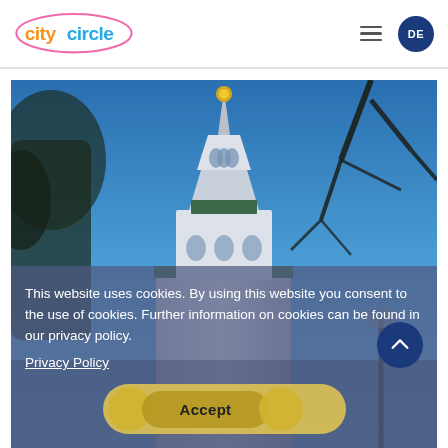[Figure (logo): City Circle logo with orange 'city' text and blue/pink 'circle' text inside a pink bubble outline]
[Figure (photo): A white ornate church or pagoda-style tower with a golden orb at the top against a blue evening sky, with bare tree branches visible on the right side and a street lamp at the bottom right]
This website uses cookies. By using this website you consent to the use of cookies. Further information on cookies can be found in our privacy policy.
Privacy Policy
Accept